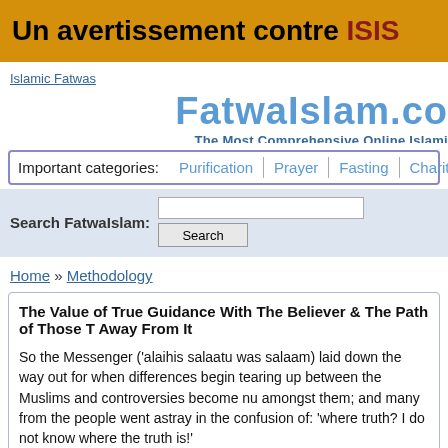Un avertissement contre ISIS
Islamic Fatwas
[Figure (logo): FatwaIslam.com logo with tagline 'The Most Comprehensive Online Islami']
| Important categories: | Purification | Prayer | Fasting | Charity | Pilgrimage |
| --- | --- | --- | --- | --- | --- |
Search FatwaIslam:
Home » Methodology
The Value of True Guidance With The Believer & The Path of Those T Away From It
So the Messenger ('alaihis salaatu was salaam) laid down the way out for when differences begin tearing up between the Muslims and controversies become nu amongst them; and many from the people went astray in the confusion of: 'where truth? I do not know where the truth is!'